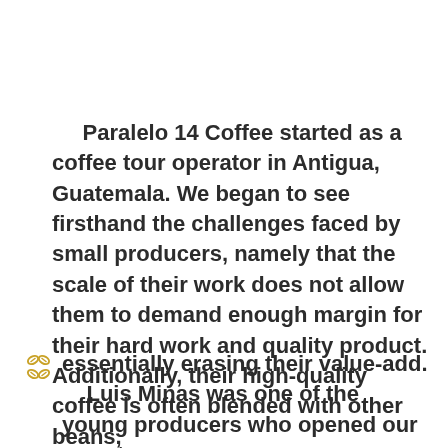Paralelo 14 Coffee started as a coffee tour operator in Antigua, Guatemala. We began to see firsthand the challenges faced by small producers, namely that the scale of their work does not allow them to demand enough margin for their hard work and quality product. Additionally, their high-quality coffee is often blended with other beans, essentially erasing their value-add. Luis Minas was one of the young producers who opened our eyes to